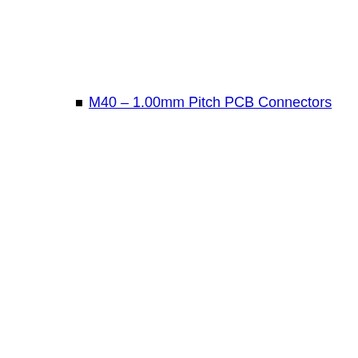M40 – 1.00mm Pitch PCB Connectors